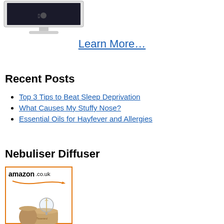[Figure (photo): iMac computer photo, partially visible at top-left]
Learn More…
Recent Posts
Top 3 Tips to Beat Sleep Deprivation
What Causes My Stuffy Nose?
Essential Oils for Hayfever and Allergies
Nebuliser Diffuser
[Figure (photo): Amazon.co.uk product listing showing a nebuliser diffuser product — wooden base with glass globe]